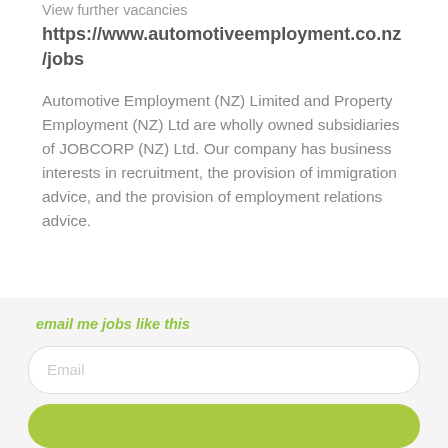View further vacancies
https://www.automotiveemployment.co.nz/jobs
Automotive Employment (NZ) Limited and Property Employment (NZ) Ltd are wholly owned subsidiaries of JOBCORP (NZ) Ltd. Our company has business interests in recruitment, the provision of immigration advice, and the provision of employment relations advice.
email me jobs like this
Email